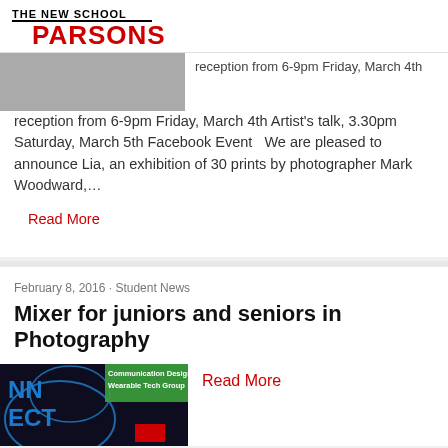THE NEW SCHOOL PARSONS
[Figure (photo): Partial photo of a person, cropped at top]
reception from 6-9pm Friday, March 4th Artist's talk, 3.30pm Saturday, March 5th Facebook Event   We are pleased to announce Lia, an exhibition of 30 prints by photographer Mark Woodward,…
Read More
February 8, 2016 · Student News
Mixer for juniors and seniors in Photography
Read More
[Figure (photo): Dark image with blue text NN ECT and overlay text Communication Design Wearable Tech Group with red box element]